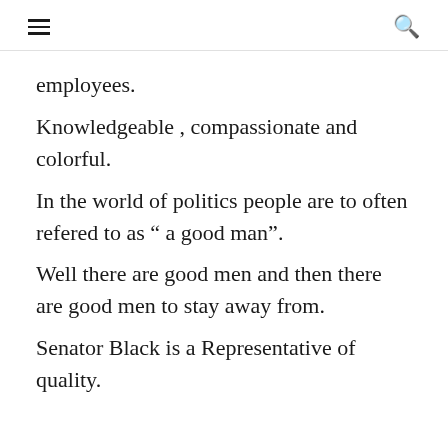≡  🔍
employees.
Knowledgeable , compassionate and colorful.
In the world of politics people are to often refered to as “ a good man”.
Well there are good men and then there are good men to stay away from.
Senator Black is a Representative of quality.